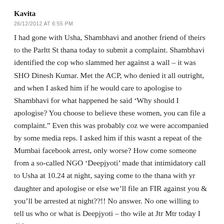Kavita
26/12/2012 AT 6:55 PM
I had gone with Usha, Shambhavi and another friend of theirs to the Parltt St thana today to submit a complaint. Shambhavi identified the cop who slammed her against a wall – it was SHO Dinesh Kumar. Met the ACP, who denied it all outright, and when I asked him if he would care to apologise to Shambhavi for what happened he said 'Why should I apologise? You choose to believe these women, you can file a complaint.” Even this was probably coz we were accompanied by some media reps. I asked him if this wasnt a repeat of the Mumbai facebook arrest, only worse? How come someone from a so-called NGO ‘Deepjyoti’ made that intimidatory call to Usha at 10.24 at night, saying come to the thana with yr daughter and apologise or else we’ll file an FIR against you & you’ll be arrested at night??!! No answer. No one willing to tell us who or what is Deepjyoti – tho wile at Jtr Mtr today I did